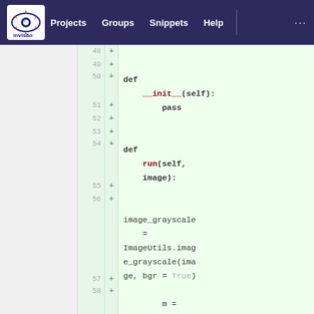Invisão | Projects  Groups  Snippets  Help  ...
[Figure (screenshot): GitLab code diff view showing Python code additions (lines 48-58) with line numbers, plus signs indicating additions, and syntax-highlighted code on a light green background. Code includes def __init__(self): pass, def run(self, image):, image_grayscale = ImageUtils.image_grayscale(image, bgr = True), m = measure.moments(image_grayscal...]